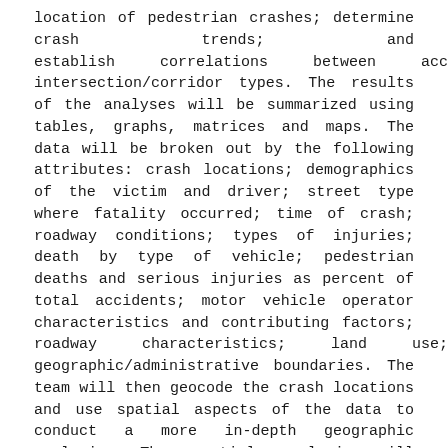location of pedestrian crashes; determine crash trends; and establish correlations between accidents and intersection/corridor types. The results of the analyses will be summarized using tables, graphs, matrices and maps. The data will be broken out by the following attributes: crash locations; demographics of the victim and driver; street type where fatality occurred; time of crash; roadway conditions; types of injuries; death by type of vehicle; pedestrian deaths and serious injuries as percent of total accidents; motor vehicle operator characteristics and contributing factors; roadway characteristics; land use; and geographic/administrative boundaries. The team will then geocode the crash locations and use spatial aspects of the data to conduct a more in-depth geographic analysis. The spatial analysis will include statistical examination of clustering patterns.
Task 4: Crash Cause Modeling. This task will analyze the relationship between pedestrian crashes and other independent variables such as roadway-geometry